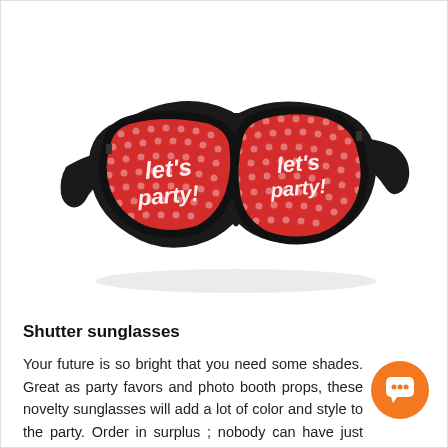[Figure (photo): Black wayfarer-style novelty sunglasses with red polka-dot lenses printed with white script text reading 'let's party']
Shutter sunglasses
Your future is so bright that you need some shades. Great as party favors and photo booth props, these novelty sunglasses will add a lot of color and style to the party. Order in surplus ; nobody can have just one